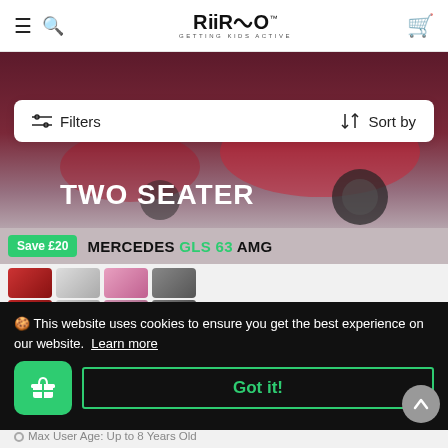RIIROO™ — GETTING KIDS ACTIVE — navigation header with hamburger menu, search, logo, and cart icon
[Figure (photo): Product photo of a Mercedes GLS 63 AMG kids ride-on car in red, dark moody background, with 'TWO SEATER' text overlay]
Filters   Sort by
Save £20   MERCEDES GLS 63 AMG
[Figure (photo): Row of thumbnail product images showing the Mercedes GLS 63 AMG ride-on car in red, white, pink, and grey color variants]
🍪 This website uses cookies to ensure you get the best experience on our website. Learn more
Got it!
Max User Age: Up to 8 Years Old